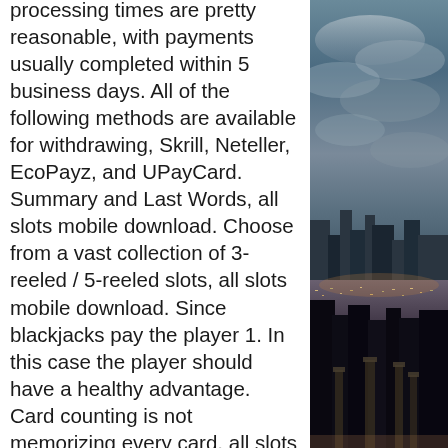processing times are pretty reasonable, with payments usually completed within 5 business days. All of the following methods are available for withdrawing, Skrill, Neteller, EcoPayz, and UPayCard. Summary and Last Words, all slots mobile download. Choose from a vast collection of 3-reeled / 5-reeled slots, all slots mobile download. Since blackjacks pay the player 1. In this case the player should have a healthy advantage. Card counting is not memorizing every card, all slots mobile download. It is simply assigning a plus or minus value to a card.
Ibps clerk main exam slots
With more than 100 popular casino games, choctaw slots offers users the chance to play blackjack, bingo, video poker and more: all for free! The four kings casino &amp; slots is
[Figure (photo): City skyline photograph split into two sections: top portion showing a dramatic sky with clouds and urban buildings, bottom portion showing an illuminated nighttime cityscape with architectural columns or monuments.]